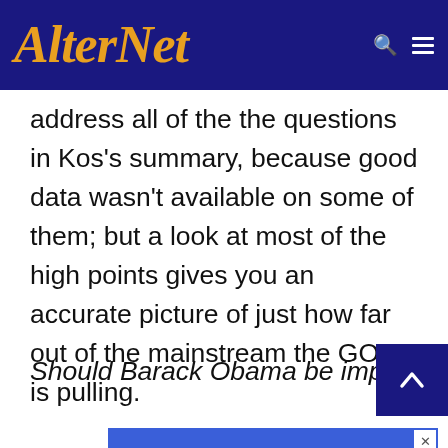AlterNet
address all of the the questions in Kos's summary, because good data wasn't available on some of them; but a look at most of the high points gives you an accurate picture of just how far out of the mainstream the GOP is pulling.
Should Barack Obama be impeached, or n
[Figure (screenshot): Advertisement banner: 'Boost your site's engagement with custom content' on blue background]